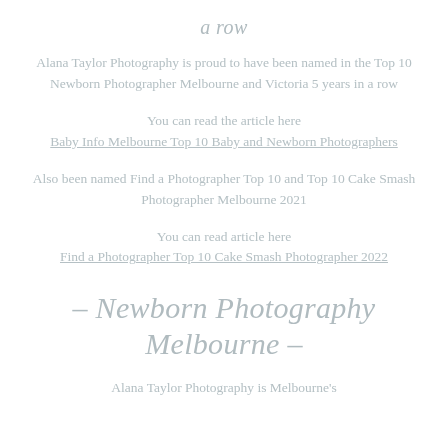a row
Alana Taylor Photography is proud to have been named in the Top 10 Newborn Photographer Melbourne and Victoria 5 years in a row
You can read the article here
Baby Info Melbourne Top 10 Baby and Newborn Photographers
Also been named Find a Photographer Top 10 and Top 10 Cake Smash Photographer Melbourne 2021
You can read article here
Find a Photographer Top 10 Cake Smash Photographer 2022
– Newborn Photography Melbourne –
Alana Taylor Photography is Melbourne's